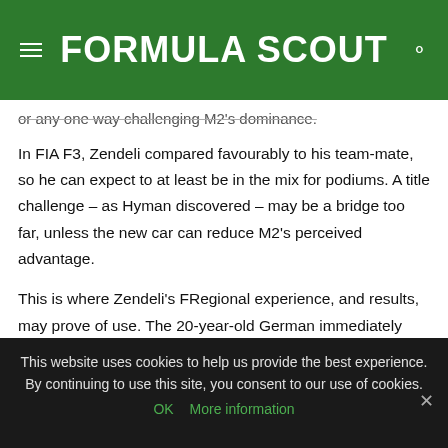FORMULA SCOUT
or any one way challenging M2's dominance.
In FIA F3, Zendeli compared favourably to his team-mate, so he can expect to at least be in the mix for podiums. A title challenge – as Hyman discovered – may be a bridge too far, unless the new car can reduce M2's perceived advantage.
This is where Zendeli's FRegional experience, and results, may prove of use. The 20-year-old German immediately adapted to the Tatuus regional F3 design on a circuit he was new to, and bettered drivers who'd been racing the car all season. He'll be relied upon to lead a team whose regular quartet otherwise lacks single-seater experience.
This website uses cookies to help us provide the best experience. By continuing to use this site, you consent to our use of cookies.
OK   More information